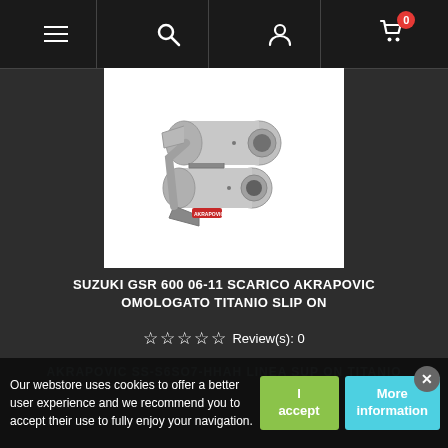Navigation bar with menu, search, user, and cart (0 items) icons
[Figure (photo): Akrapovic titanium slip-on exhaust mufflers for Suzuki GSR 600, two metallic cylindrical exhaust cans with brackets, shown on white background]
SUZUKI GSR 600 06-11 SCARICO AKRAPOVIC OMOLOGATO TITANIO SLIP ON
Review(s): 0
AKRAPOVIC SS-S6SO7-HHAH LINEA SUP ON TITANIO
Our webstore uses cookies to offer a better user experience and we recommend you to accept their use to fully enjoy your navigation. I accept | More information